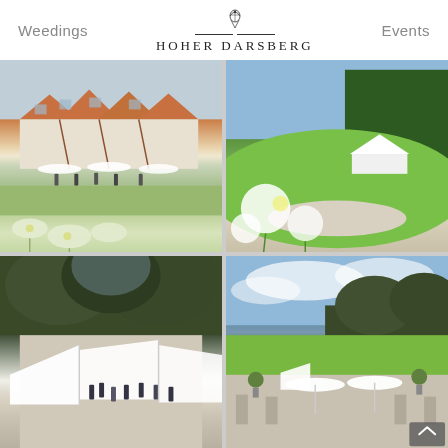Weedings   HOHER DARSBERG   Events
[Figure (photo): Exterior view of Hoher Darsberg venue, a half-timbered building with orange-red roof and white outdoor seating area with umbrellas, guests gathered outside, white flowers in foreground]
[Figure (photo): Garden view of Hoher Darsberg with a white event tent/pavilion on a green hillside, trees in background, white flowers in foreground]
[Figure (photo): Outdoor garden event at Hoher Darsberg with white marquee tents, guests gathered on gravel path, large trees in background]
[Figure (photo): Aerial or elevated view of Hoher Darsberg grounds showing white parasols, event tent, manicured lawns, topiary bushes, under blue sky with clouds]